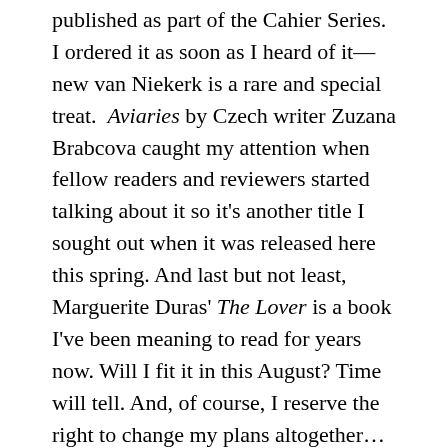published as part of the Cahier Series. I ordered it as soon as I heard of it—new van Niekerk is a rare and special treat. Aviaries by Czech writer Zuzana Brabcova caught my attention when fellow readers and reviewers started talking about it so it's another title I sought out when it was released here this spring. And last but not least, Marguerite Duras' The Lover is a book I've been meaning to read for years now. Will I fit it in this August? Time will tell. And, of course, I reserve the right to change my plans altogether...
The nice thing about books is that, at least with the old fashioned solid form variety, they don't vanish at month's end if you don't get to them. They will still be there on the shelf waiting no